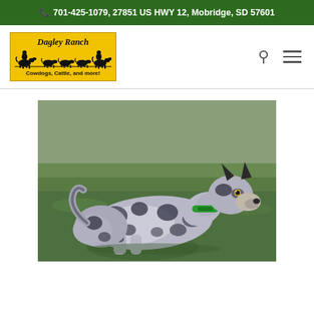📞 701-425-1079, 27851 US HWY 12, Mobridge, SD 57601
[Figure (logo): Dagley Ranch logo — yellow background with black silhouette of horses, cattle, and riders. Text: 'Dagley Ranch' and 'Cowdogs, Cattle, and more!']
[Figure (photo): A blue merle Australian shepherd dog with black spots and a green collar, lying on green grass outdoors.]